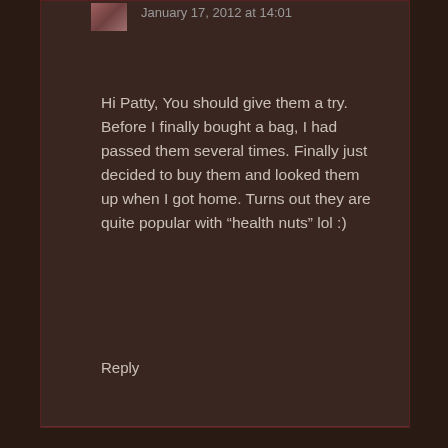January 17, 2012 at 14:01
Hi Patty, You should give them a try. Before I finally bought a bag, I had passed them several times. Finally just decided to buy them and looked them up when I got home. Turns out they are quite popular with “health nuts” lol :)
Reply